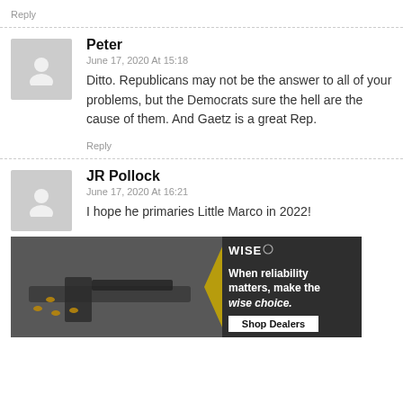Reply
Peter
June 17, 2020 At 15:18
Ditto. Republicans may not be the answer to all of your problems, but the Democrats sure the hell are the cause of them. And Gaetz is a great Rep.
Reply
JR Pollock
June 17, 2020 At 16:21
I hope he primaries Little Marco in 2022!
[Figure (photo): Advertisement banner for WISE firearms accessories showing a firearm with ammunition and text: 'When reliability matters, make the wise choice. Shop Dealers']